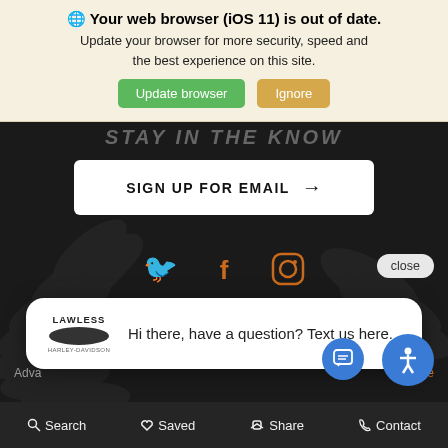🌐 Your web browser (iOS 11) is out of date. Update your browser for more security, speed and the best experience on this site.
Update browser
Ignore
STAY IN THE KNOW
SIGN UP FOR EMAIL →
[Figure (screenshot): Twitter, Facebook, Instagram social media icons in orange]
close
Hi there, have a question? Text us here.
Adva... nspire
Search   Saved   Share   Contact